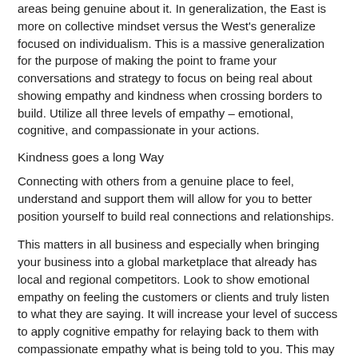areas being genuine about it. In generalization, the East is more on collective mindset versus the West's generalize focused on individualism. This is a massive generalization for the purpose of making the point to frame your conversations and strategy to focus on being real about showing empathy and kindness when crossing borders to build. Utilize all three levels of empathy – emotional, cognitive, and compassionate in your actions.
Kindness goes a long Way
Connecting with others from a genuine place to feel, understand and support them will allow for you to better position yourself to build real connections and relationships.
This matters in all business and especially when bringing your business into a global marketplace that already has local and regional competitors. Look to show emotional empathy on feeling the customers or clients and truly listen to what they are saying. It will increase your level of success to apply cognitive empathy for relaying back to them with compassionate empathy what is being told to you. This may show that you're more inclined to fit the generalized mindset for collaboration to success in another country.